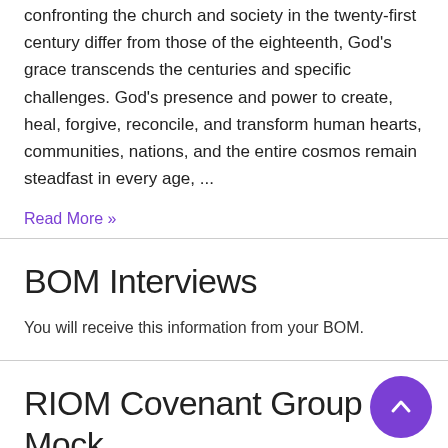confronting the church and society in the twenty-first century differ from those of the eighteenth, God's grace transcends the centuries and specific challenges. God's presence and power to create, heal, forgive, reconcile, and transform human hearts, communities, nations, and the entire cosmos remain steadfast in every age, ...
Read More »
BOM Interviews
You will receive this information from your BOM.
RIOM Covenant Group Mock Interviews